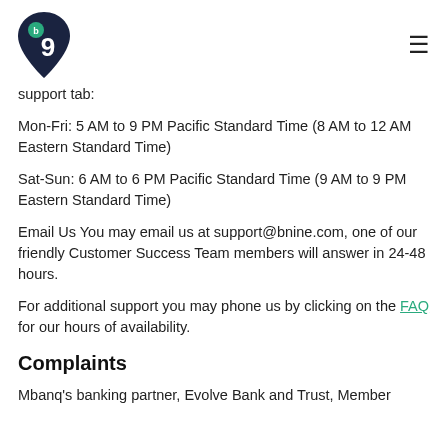[Figure (logo): Bnine/Mbanq logo: dark navy teardrop/pin shape with the number 9 and a small green circle with 'b' inside]
support tab:
Mon-Fri: 5 AM to 9 PM Pacific Standard Time (8 AM to 12 AM Eastern Standard Time)
Sat-Sun: 6 AM to 6 PM Pacific Standard Time (9 AM to 9 PM Eastern Standard Time)
Email Us You may email us at support@bnine.com, one of our friendly Customer Success Team members will answer in 24-48 hours.
For additional support you may phone us by clicking on the FAQ for our hours of availability.
Complaints
Mbanq's banking partner, Evolve Bank and Trust, Member